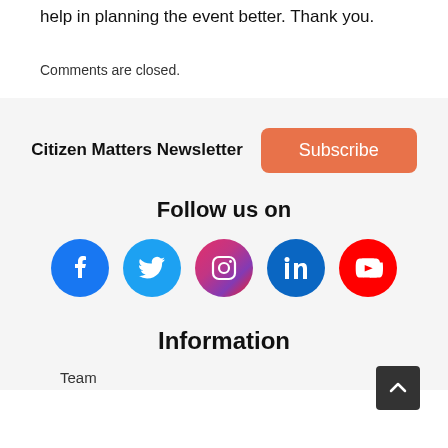help in planning the event better. Thank you.
Comments are closed.
Citizen Matters Newsletter
Subscribe
Follow us on
[Figure (infographic): Social media icons: Facebook, Twitter, Instagram, LinkedIn, YouTube]
Information
Team